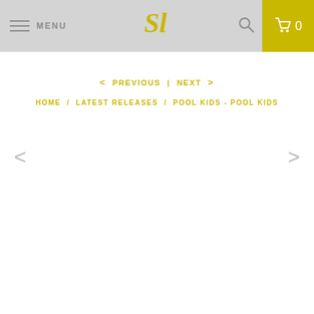MENU | [logo SL] | [search icon] | 0
< PREVIOUS | NEXT >
HOME / LATEST RELEASES / POOL KIDS - POOL KIDS